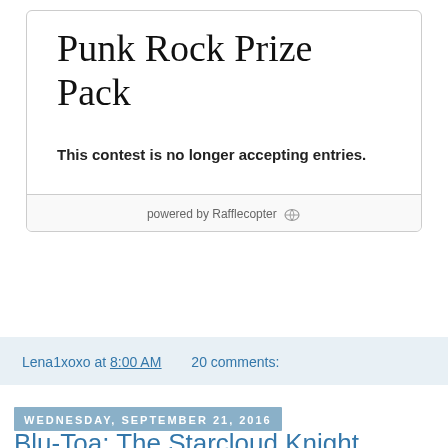Punk Rock Prize Pack
This contest is no longer accepting entries.
powered by Rafflecopter
Lena1xoxo at 8:00 AM   20 comments:
Wednesday, September 21, 2016
Blu-Toa: The Starcloud Knight